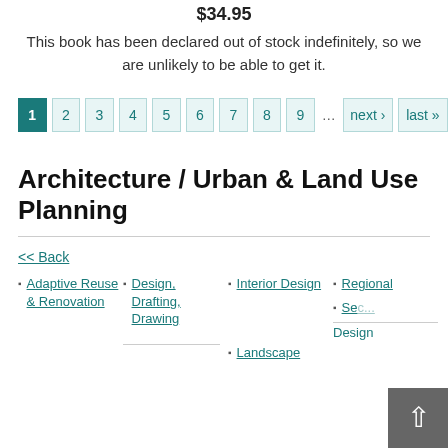$34.95
This book has been declared out of stock indefinitely, so we are unlikely to be able to get it.
1 2 3 4 5 6 7 8 9 … next › last »
Architecture / Urban & Land Use Planning
<< Back
Adaptive Reuse & Renovation
Design, Drafting, Drawing
Interior Design
Regional
Sec... Design
Landscape